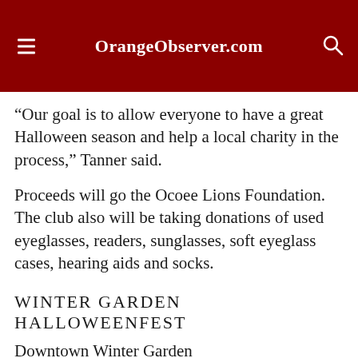OrangeObserver.com
“Our goal is to allow everyone to have a great Halloween season and help a local charity in the process,” Tanner said.
Proceeds will go the Ocoee Lions Foundation. The club also will be taking donations of used eyeglasses, readers, sunglasses, soft eyeglass cases, hearing aids and socks.
WINTER GARDEN HALLOWEENFEST
Downtown Winter Garden